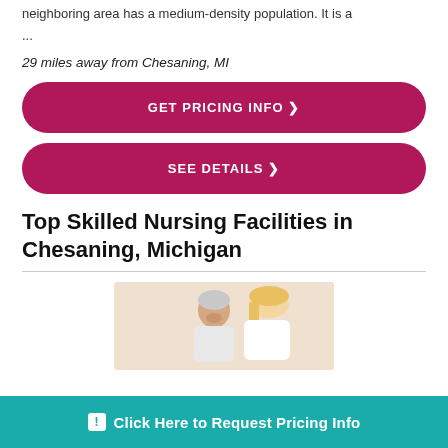neighboring area has a medium-density population. It is a ...
29 miles away from Chesaning, MI
[Figure (other): Red rounded button: GET PRICING INFO >]
[Figure (other): Red rounded button: SEE DETAILS >]
Top Skilled Nursing Facilities in Chesaning, Michigan
[Figure (photo): Photo of an elderly patient smiling with a blonde nurse/caregiver]
[Figure (other): Teal banner: Click Here to Request Pricing Info]